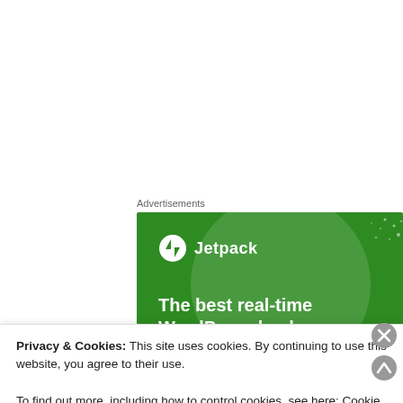Advertisements
[Figure (screenshot): Jetpack advertisement banner with green background showing Jetpack logo and text 'The best real-time WordPress backup plugin']
Privacy & Cookies: This site uses cookies. By continuing to use this website, you agree to their use.
To find out more, including how to control cookies, see here: Cookie Policy
CLOSE AND ACCEPT